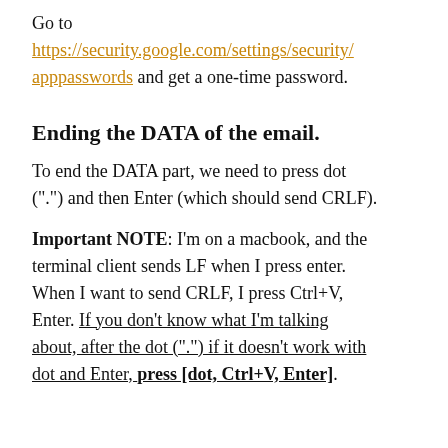Go to https://security.google.com/settings/security/apppasswords and get a one-time password.
Ending the DATA of the email.
To end the DATA part, we need to press dot (".") and then Enter (which should send CRLF).
Important NOTE: I'm on a macbook, and the terminal client sends LF when I press enter. When I want to send CRLF, I press Ctrl+V, Enter. If you don't know what I'm talking about, after the dot (".") if it doesn't work with dot and Enter, press [dot, Ctrl+V, Enter].